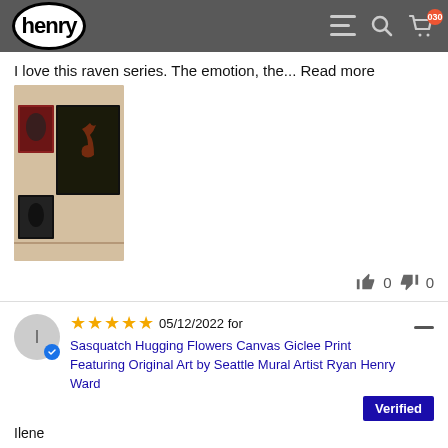henry (logo)
I love this raven series. The emotion, the... Read more
[Figure (photo): Photo of framed artwork prints hung on a wall, showing raven and elk themed paintings]
👍 0 👎 0
★★★★★ 05/12/2022 for Sasquatch Hugging Flowers Canvas Giclee Print Featuring Original Art by Seattle Mural Artist Ryan Henry Ward  Verified
Ilene
A Piece of Cheerfulness
This colorful canvas overlooks my patio... Read more